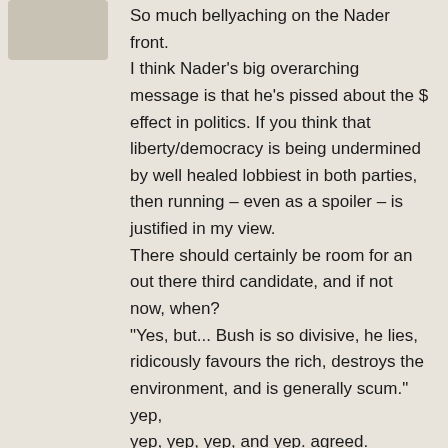[Figure (photo): Small avatar/profile image placeholder in upper left]
So much bellyaching on the Nader front.
I think Nader's big overarching message is that he's pissed about the $ effect in politics. If you think that liberty/democracy is being undermined by well healed lobbiest in both parties, then running – even as a spoiler – is justified in my view.
There should certainly be room for an out there third candidate, and if not now, when?
"Yes, but... Bush is so divisive, he lies, ridicously favours the rich, destroys the environment, and is generally scum."
yep,
yep, yep, yep, and yep. agreed.
Would Kerry be better? Hell yea! I'm working on some creative stuff to get